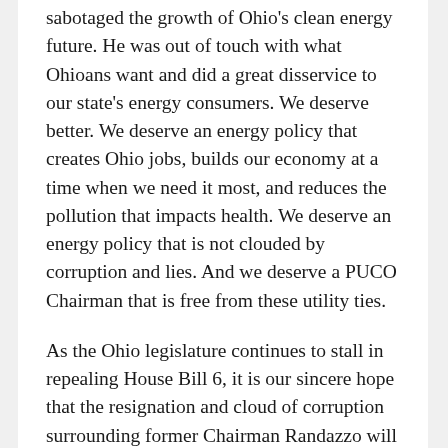sabotaged the growth of Ohio's clean energy future. He was out of touch with what Ohioans want and did a great disservice to our state's energy consumers. We deserve better. We deserve an energy policy that creates Ohio jobs, builds our economy at a time when we need it most, and reduces the pollution that impacts health. We deserve an energy policy that is not clouded by corruption and lies. And we deserve a PUCO Chairman that is free from these utility ties.
As the Ohio legislature continues to stall in repealing House Bill 6, it is our sincere hope that the resignation and cloud of corruption surrounding former Chairman Randazzo will be the push they need to finally end this cycle of deceit and erosion of confidence. We urge them to adopt a full repeal of House Bill 6 now